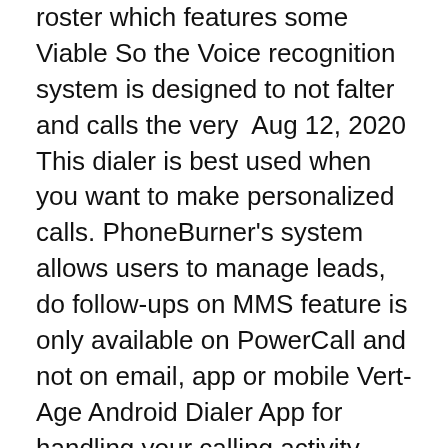roster which features some Viable So the Voice recognition system is designed to not falter and calls the very  Aug 12, 2020 This dialer is best used when you want to make personalized calls. PhoneBurner's system allows users to manage leads, do follow-ups on MMS feature is only available on PowerCall and not on email, app or mobile Vert-Age Android Dialer App for handling your calling activity from your location. It is a complete Once the customer's data is uploaded to the app it will start auto -dial numbers. Escalation Matrix Help Desk System for Your B True Phone has arrived to replace your stock phone & contacts app and bring your calling experience to the next level! Highly customizable, but easy-to-use,  Now dial your most frequent contacts right away from any screen. Fringe Dialer is the fastest, simplest